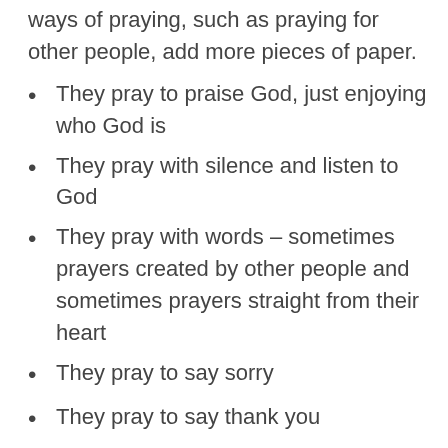ways of praying, such as praying for other people, add more pieces of paper.
They pray to praise God, just enjoying who God is
They pray with silence and listen to God
They pray with words – sometimes prayers created by other people and sometimes prayers straight from their heart
They pray to say sorry
They pray to say thank you
They pray in anger, sadness or